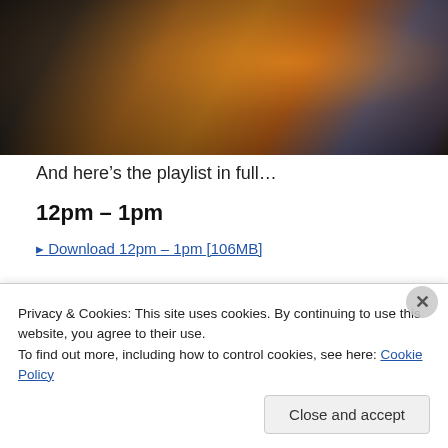[Figure (photo): Blurry photo of what appears to be a bar or restaurant setting with orange/amber colored lighting, dark background, chairs visible]
And here’s the playlist in full…
12pm – 1pm
▸ Download 12pm – 1pm [106MB]
Privacy & Cookies: This site uses cookies. By continuing to use this website, you agree to their use.
To find out more, including how to control cookies, see here: Cookie Policy